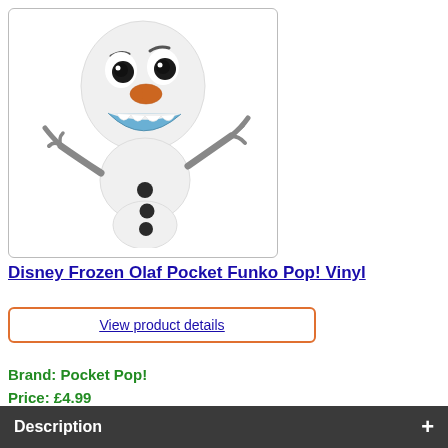[Figure (photo): Funko Pop! Pocket Vinyl figure of Olaf from Disney Frozen. White snowman character with black button eyes, orange carrot nose, blue curved smile, twig arms raised, three black buttons on body, smiling cheerfully.]
Disney Frozen Olaf Pocket Funko Pop! Vinyl
View product details
Brand: Pocket Pop!
Price: £4.99
Description